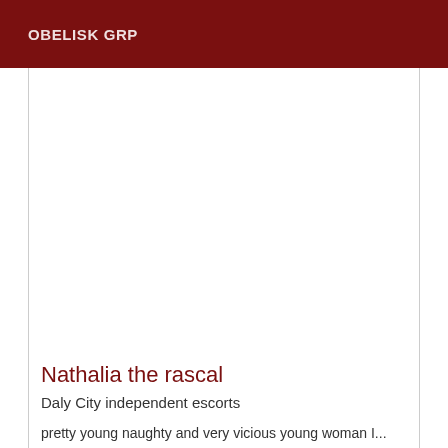OBELISK GRP
[Figure (photo): Large white/blank image placeholder area in the center of the page]
Nathalia the rascal
Daly City independent escorts
pretty young naughty and very vicious young woman I...